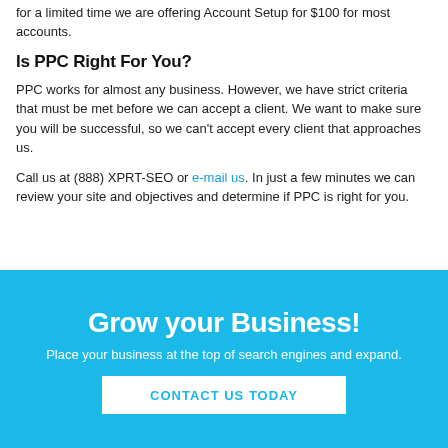for a limited time we are offering Account Setup for $100 for most accounts.
Is PPC Right For You?
PPC works for almost any business. However, we have strict criteria that must be met before we can accept a client. We want to make sure you will be successful, so we can't accept every client that approaches us.
Call us at (888) XPRT-SEO or e-mail us. In just a few minutes we can review your site and objectives and determine if PPC is right for you.
Grow your Business!
Place your business at the top of search engines and expand.
CONTACT US TODAY